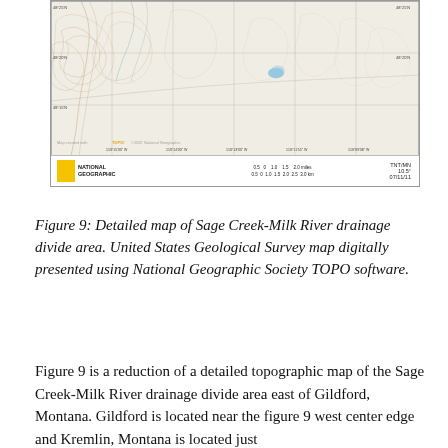[Figure (map): Detailed topographic map of the Sage Creek-Milk River drainage divide area, presented using National Geographic Society TOPO software. Shows contour lines, creek drainages, grid lines, and geographic coordinates. National Geographic logo and scale bar visible at bottom.]
Figure 9: Detailed map of Sage Creek-Milk River drainage divide area. United States Geological Survey map digitally presented using National Geographic Society TOPO software.
Figure 9 is a reduction of a detailed topographic map of the Sage Creek-Milk River drainage divide area east of Gildford, Montana. Gildford is located near the figure 9 west center edge and Kremlin, Montana is located just